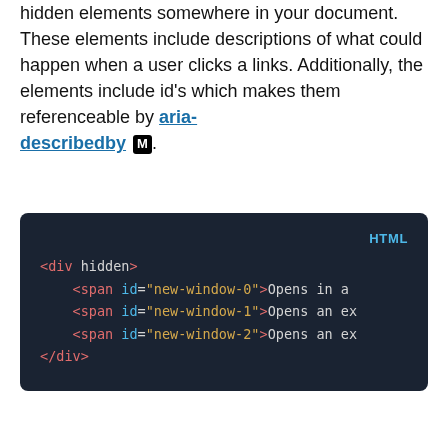hidden elements somewhere in your document. These elements include descriptions of what could happen when a user clicks a links. Additionally, the elements include id's which makes them referenceable by aria-describedby [M].
[Figure (screenshot): HTML code block showing a hidden div with three span elements with ids new-window-0, new-window-1, and new-window-2, followed by closing div tag, on a dark background with HTML label in top right.]